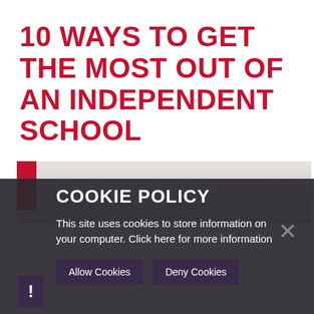10 WAYS TO GET THE MOST OUT OF AN INDEPENDENT SCHOOL
[Figure (photo): Interior photo of a school room or corridor with a pink/red vertical bar on the left side and light-coloured walls, partially obscured by cookie overlay.]
COOKIE POLICY
This site uses cookies to store information on your computer. Click here for more information
Allow Cookies
Deny Cookies